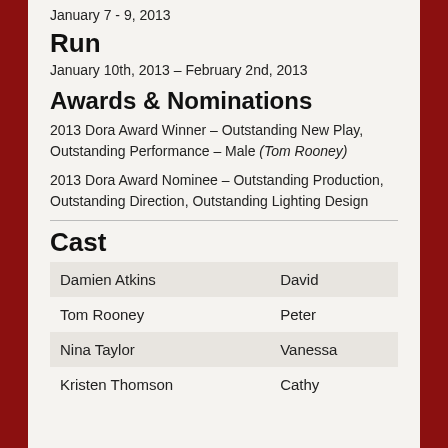January 7 - 9, 2013
Run
January 10th, 2013 – February 2nd, 2013
Awards & Nominations
2013 Dora Award Winner – Outstanding New Play, Outstanding Performance – Male (Tom Rooney)
2013 Dora Award Nominee – Outstanding Production, Outstanding Direction, Outstanding Lighting Design
Cast
| Actor | Role |
| --- | --- |
| Damien Atkins | David |
| Tom Rooney | Peter |
| Nina Taylor | Vanessa |
| Kristen Thomson | Cathy |